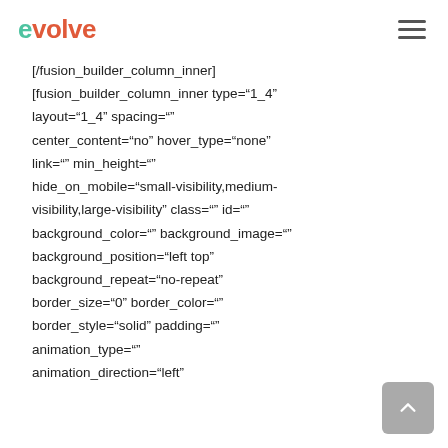evolve
[/fusion_builder_column_inner]
[fusion_builder_column_inner type="1_4"
layout="1_4" spacing=""
center_content="no" hover_type="none"
link="" min_height=""
hide_on_mobile="small-visibility,medium-visibility,large-visibility" class="" id=""
background_color="" background_image=""
background_position="left top"
background_repeat="no-repeat"
border_size="0" border_color=""
border_style="solid" padding=""
animation_type=""
animation_direction="left"